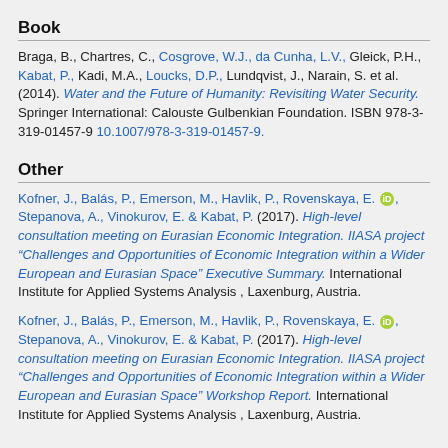Book
Braga, B., Chartres, C., Cosgrove, W.J., da Cunha, L.V., Gleick, P.H., Kabat, P., Kadi, M.A., Loucks, D.P., Lundqvist, J., Narain, S. et al. (2014). Water and the Future of Humanity: Revisiting Water Security. Springer International: Calouste Gulbenkian Foundation. ISBN 978-3-319-01457-9 10.1007/978-3-319-01457-9.
Other
Kofner, J., Balás, P., Emerson, M., Havlik, P., Rovenskaya, E. [ORCID], Stepanova, A., Vinokurov, E. & Kabat, P. (2017). High-level consultation meeting on Eurasian Economic Integration. IIASA project “Challenges and Opportunities of Economic Integration within a Wider European and Eurasian Space” Executive Summary. International Institute for Applied Systems Analysis , Laxenburg, Austria.
Kofner, J., Balás, P., Emerson, M., Havlik, P., Rovenskaya, E. [ORCID], Stepanova, A., Vinokurov, E. & Kabat, P. (2017). High-level consultation meeting on Eurasian Economic Integration. IIASA project “Challenges and Opportunities of Economic Integration within a Wider European and Eurasian Space” Workshop Report. International Institute for Applied Systems Analysis , Laxenburg, Austria.